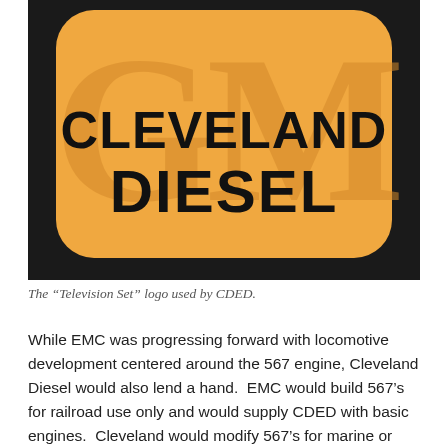[Figure (logo): The GM Cleveland Diesel 'Television Set' logo — an orange/tan rounded-rectangle badge with large 'GM' letters in orange behind black bold text reading 'CLEVELAND DIESEL', on a black background.]
The “Television Set” logo used by CDED.
While EMC was progressing forward with locomotive development centered around the 567 engine, Cleveland Diesel would also lend a hand.  EMC would build 567’s for railroad use only and would supply CDED with basic engines.  Cleveland would modify 567’s for marine or industrial applications.  Thus, any EMC/EMD non-railroad 567 application was sold and